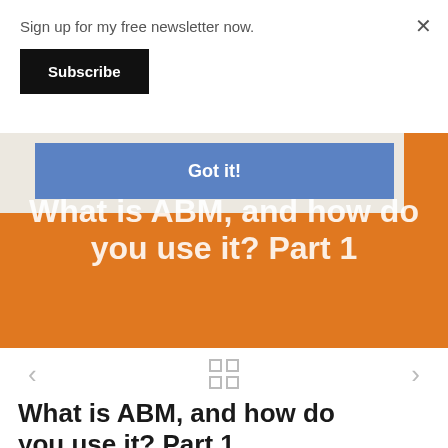Sign up for my free newsletter now.
Subscribe
×
Got it!
What is ABM, and how do you use it? Part 1
What is ABM, and how do you use it? Part 1